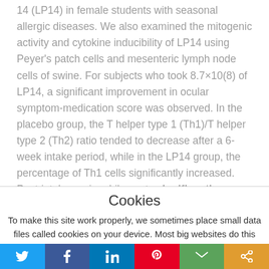14 (LP14) in female students with seasonal allergic diseases. We also examined the mitogenic activity and cytokine inducibility of LP14 using Peyer's patch cells and mesenteric lymph node cells of swine. For subjects who took 8.7×10(8) of LP14, a significant improvement in ocular symptom-medication score was observed. In the placebo group, the T helper type 1 (Th1)/T helper type 2 (Th2) ratio tended to decrease after a 6-week intake period, while in the LP14 group, the percentage of Th1 cells significantly increased. Post-intake eosinophil counts significantly increased in comparison to those at intake cessation in the
Cookies
To make this site work properly, we sometimes place small data files called cookies on your device. Most big websites do this too.
Accept  Reject  Read More
Twitter Facebook LinkedIn Pinterest Email Share